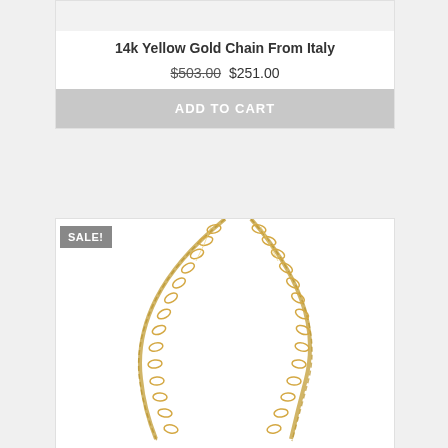[Figure (photo): Top portion of a product card showing a light gray image area for a 14k yellow gold chain]
14k Yellow Gold Chain From Italy
$503.00 $251.00
ADD TO CART
[Figure (photo): 14k yellow gold curb chain necklace displayed against white background, with a gray SALE! badge in the top left corner]